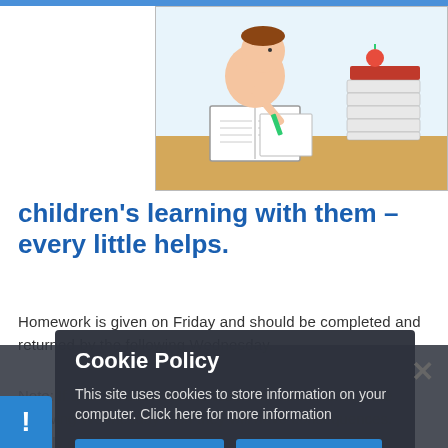[Figure (illustration): Cartoon illustration of a child studying at a desk with books, writing with a pencil, with a stack of books beside them]
children's learning with them - every little helps.
Homework is given on Friday and should be completed and returned by the following Wednesday.
Note: If a child has not completed their homework by the following Wednesday then they will have consequences. Simply providing them with the stimulus to do their homework at the right time will help them to achieve.
Cookie Policy
This site uses cookies to store information on your computer. Click here for more information